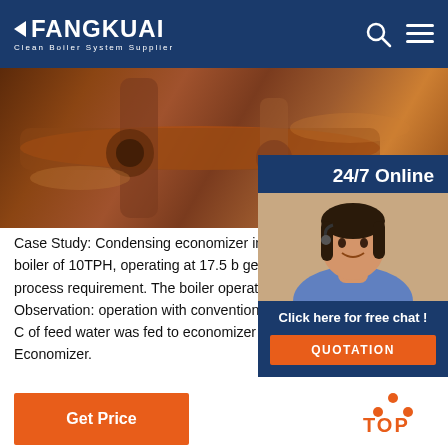FANGKUAI Clean Boiler System Supplier
[Figure (photo): Close-up photo of boiler pipes and valves, reddish-brown metallic components]
[Figure (photo): 24/7 Online chat widget with customer service representative photo, 'Click here for free chat!' text and QUOTATION button]
Case Study: Condensing economizer in boiler Smoke tube boiler of 10TPH, operating at 17.5 b generating steam for process requirement. The boiler operation was Natural gas. Observation: operation with conventional economizer. De-aer C of feed water was fed to economizer and flue enters Economizer.
Get Price
TOP